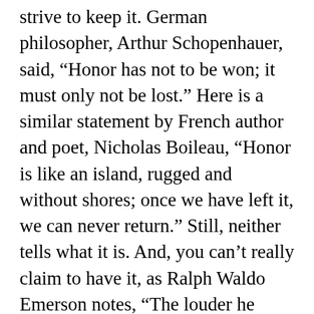strive to keep it. German philosopher, Arthur Schopenhauer, said, “Honor has not to be won; it must only not be lost.” Here is a similar statement by French author and poet, Nicholas Boileau, “Honor is like an island, rugged and without shores; once we have left it, we can never return.” Still, neither tells what it is. And, you can’t really claim to have it, as Ralph Waldo Emerson notes, “The louder he talked of his honor, the faster we counted our spoons.” Could it be something that only other people can observe in you? Leonardo da Vinci, endeavored to define it as, “He who sows virtue reaps honor.” One of the best definitions I found is from journalist, Walter Lippmann, “He has honor if he holds himself to an ideal of conduct though it is inconvenient, unprofitable, or dangerous to do so.” I recall one of the s teaching s about honor s come